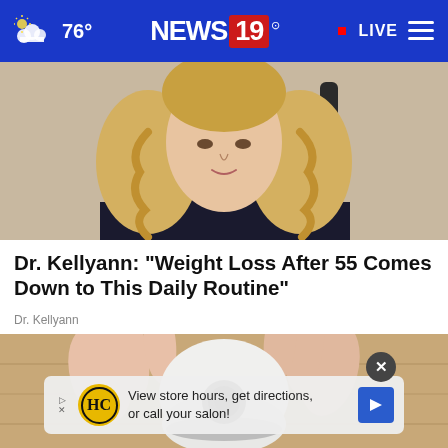76° NEWS 19 • LIVE
[Figure (photo): Woman with blonde wavy hair wearing dark top seated in chair, upper body visible, interview setting]
Dr. Kellyann: "Weight Loss After 55 Comes Down to This Daily Routine"
Dr. Kellyann
[Figure (photo): Hand holding a small white dome-shaped security camera device, wooden surface in background]
View store hours, get directions, or call your salon!